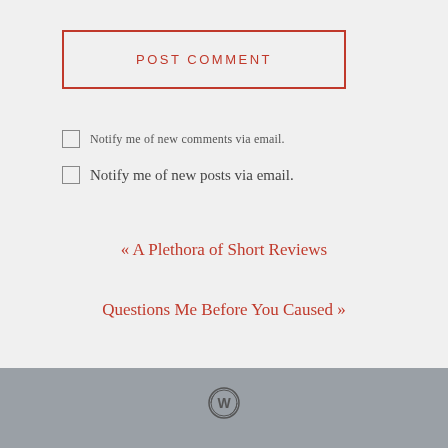POST COMMENT
Notify me of new comments via email.
Notify me of new posts via email.
« A Plethora of Short Reviews
Questions Me Before You Caused »
[Figure (logo): WordPress logo in footer bar]